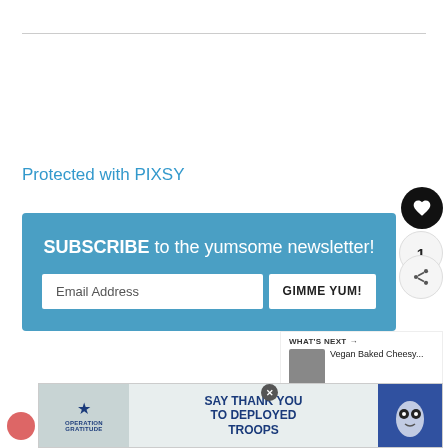Protected with PIXSY
SUBSCRIBE to the yumsome newsletter!
Email Address
GIMME YUM!
WHAT'S NEXT → Vegan Baked Cheesy...
[Figure (infographic): Operation Gratitude ad banner: SAY THANK YOU TO DEPLOYED TROOPS, with American flag and cartoon characters]